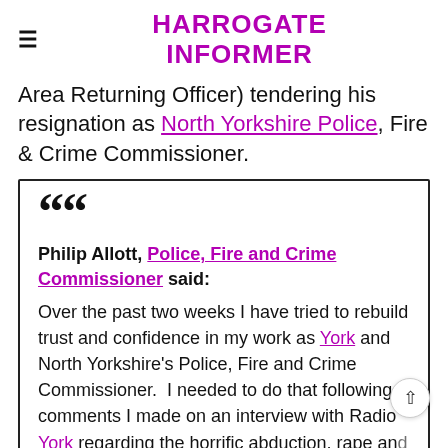HARROGATE INFORMER
Area Returning Officer) tendering his resignation as North Yorkshire Police, Fire & Crime Commissioner.
Philip Allott, Police, Fire and Crime Commissioner said:

Over the past two weeks I have tried to rebuild trust and confidence in my work as York and North Yorkshire's Police, Fire and Crime Commissioner.  I needed to do that following comments I made on an interview with Radio York regarding the horrific abduction, rape and murder of Sarah Everard.